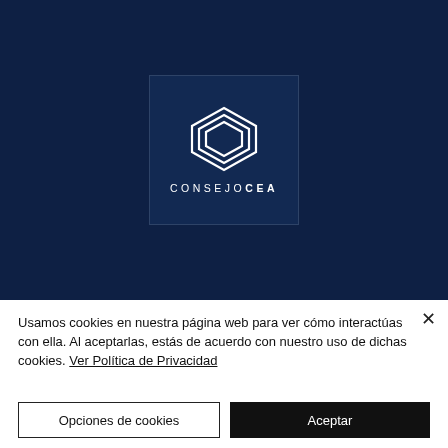[Figure (logo): ConsejoCEA logo: a hexagon outline (nested concentric hexagons) in white on a dark navy blue background, with the text CONSEJO CEA in white spaced capitals below]
Usamos cookies en nuestra página web para ver cómo interactúas con ella. Al aceptarlas, estás de acuerdo con nuestro uso de dichas cookies. Ver Política de Privacidad
Opciones de cookies
Aceptar